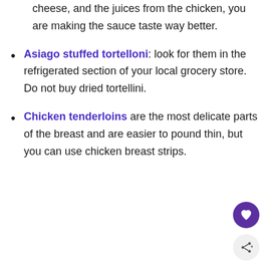cheese, and the juices from the chicken, you are making the sauce taste way better.
Asiago stuffed tortelloni: look for them in the refrigerated section of your local grocery store. Do not buy dried tortellini.
Chicken tenderloins are the most delicate parts of the breast and are easier to pound thin, but you can use chicken breast strips.